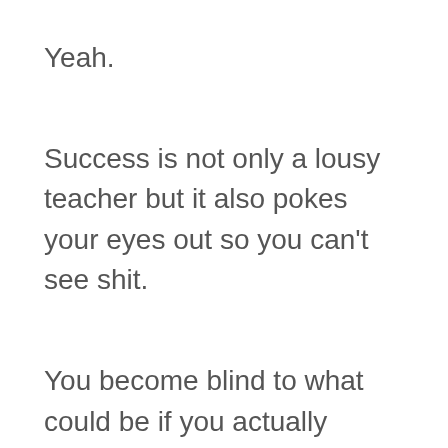Yeah.
Success is not only a lousy teacher but it also pokes your eyes out so you can't see shit.
You become blind to what could be if you actually moved on … as you gaze at the current success wondering how to breathe some fresh air into what is